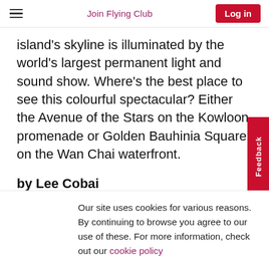Join Flying Club | Log in
island’s skyline is illuminated by the world’s largest permanent light and sound show. Where’s the best place to see this colourful spectacular? Either the Avenue of the Stars on the Kowloon promenade or Golden Bauhinia Square on the Wan Chai waterfront.
by Lee Cobai
Our site uses cookies for various reasons. By continuing to browse you agree to our use of these. For more information, check out our cookie policy